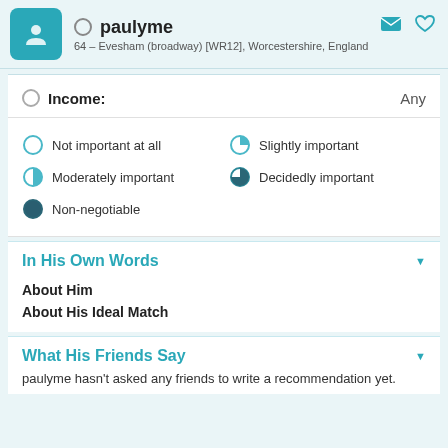paulyme — 64 – Evesham (broadway) [WR12], Worcestershire, England
Income: Any
Not important at all
Slightly important
Moderately important
Decidedly important
Non-negotiable
In His Own Words
About Him
About His Ideal Match
What His Friends Say
paulyme hasn't asked any friends to write a recommendation yet.